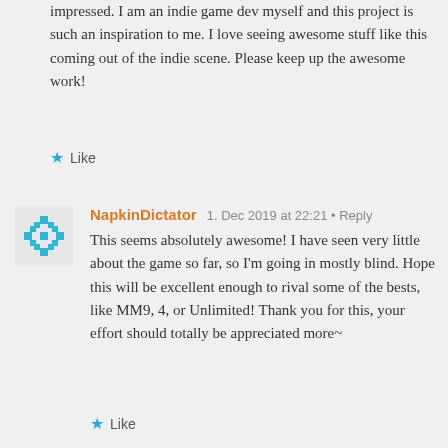impressed. I am an indie game dev myself and this project is such an inspiration to me. I love seeing awesome stuff like this coming out of the indie scene. Please keep up the awesome work!
★ Like
[Figure (illustration): Avatar icon of NapkinDictator: a cyan/teal snowflake-like geometric pattern on a light background]
NapkinDictator
1. Dec 2019 at 22:21 • Reply
This seems absolutely awesome! I have seen very little about the game so far, so I'm going in mostly blind. Hope this will be excellent enough to rival some of the bests, like MM9, 4, or Unlimited! Thank you for this, your effort should totally be appreciated more~
★ Like